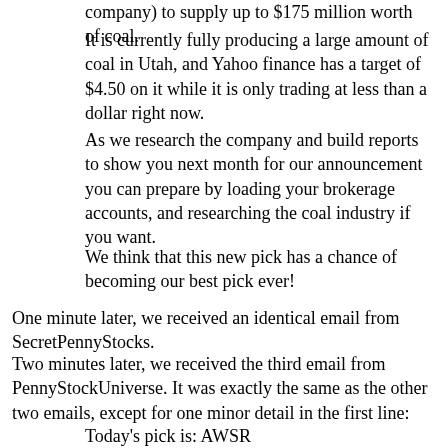company) to supply up to $175 million worth of coal.
It is currently fully producing a large amount of coal in Utah, and Yahoo finance has a target of $4.50 on it while it is only trading at less than a dollar right now.
As we research the company and build reports to show you next month for our announcement you can prepare by loading your brokerage accounts, and researching the coal industry if you want.
We think that this new pick has a chance of becoming our best pick ever!
One minute later, we received an identical email from SecretPennyStocks.
Two minutes later, we received the third email from PennyStockUniverse. It was exactly the same as the other two emails, except for one minor detail in the first line:
Today's pick is: AWSR
Quick research on AWSR led us to the realization that AWSR fits the exact clues they mention in ALL emails. It had a contract with Pacific Corp, it produced coal in Utah, and it had a $4.50 price